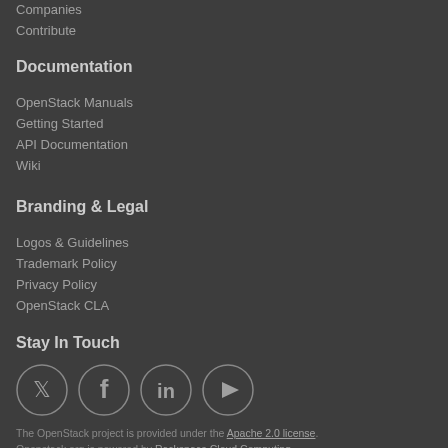Companies
Contribute
Documentation
OpenStack Manuals
Getting Started
API Documentation
Wiki
Branding & Legal
Logos & Guidelines
Trademark Policy
Privacy Policy
OpenStack CLA
Stay In Touch
[Figure (illustration): Social media icons: Twitter, Facebook, LinkedIn, YouTube]
The OpenStack project is provided under the Apache 2.0 license. Openstack.org is powered by Rackspace Cloud Computing.